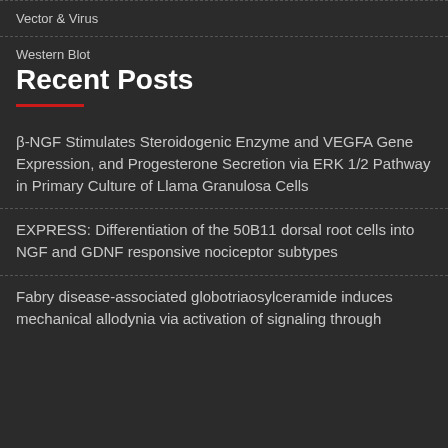Vector & Virus
Western Blot
Recent Posts
β-NGF Stimulates Steroidogenic Enzyme and VEGFA Gene Expression, and Progesterone Secretion via ERK 1/2 Pathway in Primary Culture of Llama Granulosa Cells
EXPRESS: Differentiation of the 50B11 dorsal root cells into NGF and GDNF responsive nociceptor subtypes
Fabry disease-associated globotriaosylceramide induces mechanical allodynia via activation of signaling through